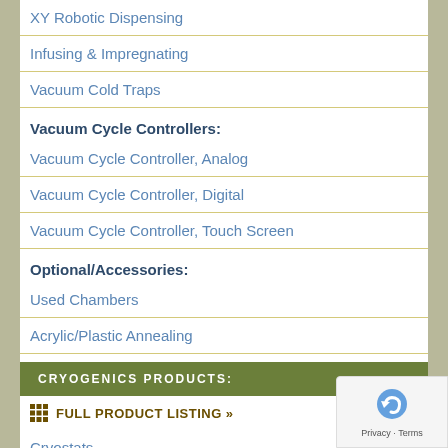XY Robotic Dispensing
Infusing & Impregnating
Vacuum Cold Traps
Vacuum Cycle Controllers:
Vacuum Cycle Controller, Analog
Vacuum Cycle Controller, Digital
Vacuum Cycle Controller, Touch Screen
Optional/Accessories:
Used Chambers
Acrylic/Plastic Annealing
CRYOGENICS PRODUCTS:
FULL PRODUCT LISTING »
Cryostats
Cold Fingers and Sample Holders